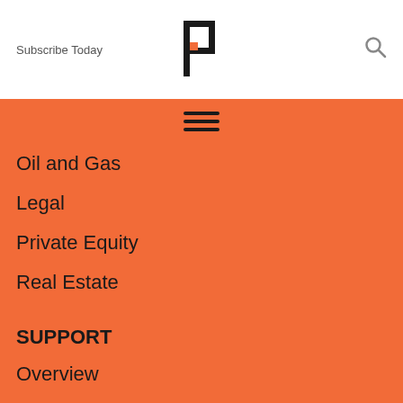Subscribe Today
[Figure (logo): Firmex logo: stylized letter P with orange square accent]
[Figure (other): Search icon (magnifying glass)]
[Figure (other): Hamburger menu icon (three horizontal lines)]
Oil and Gas
Legal
Private Equity
Real Estate
SUPPORT
Overview
Knowledge Base
Customer Data Protection
Firmex Sub-Processors List